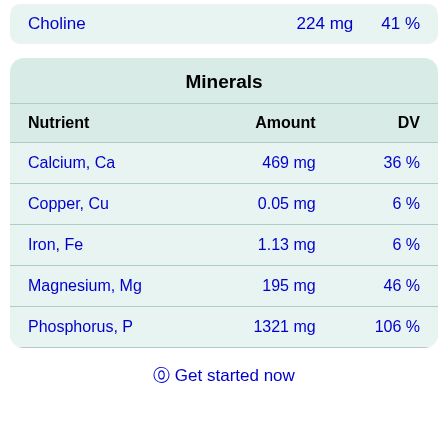| Nutrient | Amount | DV |
| --- | --- | --- |
| Choline | 224 mg | 41 % |
Minerals
| Nutrient | Amount | DV |
| --- | --- | --- |
| Calcium, Ca | 469 mg | 36 % |
| Copper, Cu | 0.05 mg | 6 % |
| Iron, Fe | 1.13 mg | 6 % |
| Magnesium, Mg | 195 mg | 46 % |
| Phosphorus, P | 1321 mg | 106 % |
⓪ Get started now